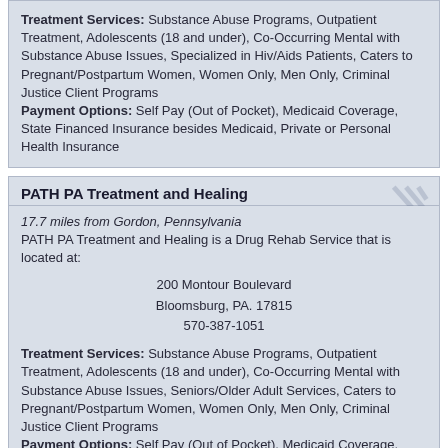Treatment Services: Substance Abuse Programs, Outpatient Treatment, Adolescents (18 and under), Co-Occurring Mental with Substance Abuse Issues, Specialized in Hiv/Aids Patients, Caters to Pregnant/Postpartum Women, Women Only, Men Only, Criminal Justice Client Programs
Payment Options: Self Pay (Out of Pocket), Medicaid Coverage, State Financed Insurance besides Medicaid, Private or Personal Health Insurance
PATH PA Treatment and Healing
17.7 miles from Gordon, Pennsylvania
PATH PA Treatment and Healing is a Drug Rehab Service that is located at:

200 Montour Boulevard
Bloomsburg, PA. 17815
570-387-1051
Treatment Services: Substance Abuse Programs, Outpatient Treatment, Adolescents (18 and under), Co-Occurring Mental with Substance Abuse Issues, Seniors/Older Adult Services, Caters to Pregnant/Postpartum Women, Women Only, Men Only, Criminal Justice Client Programs
Payment Options: Self Pay (Out of Pocket), Medicaid Coverage, Medicare Coverage, State Financed Insurance besides Medicaid
Genesis House Bloomsburg